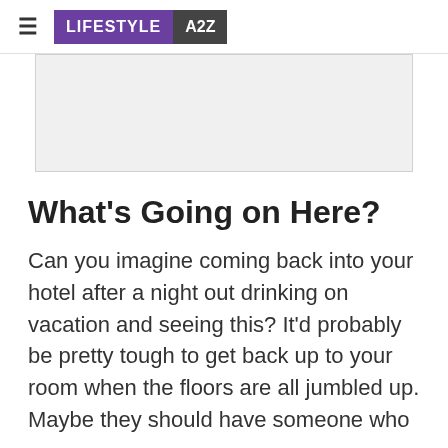≡ LIFESTYLE A2Z
[Figure (other): Gray advertisement placeholder box]
What's Going on Here?
Can you imagine coming back into your hotel after a night out drinking on vacation and seeing this? It'd probably be pretty tough to get back up to your room when the floors are all jumbled up. Maybe they should have someone who